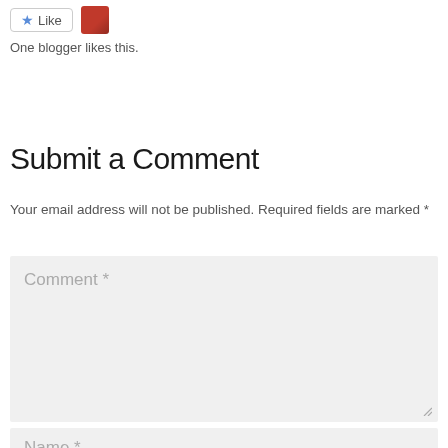[Figure (other): Like button with star icon and a small avatar thumbnail]
One blogger likes this.
Submit a Comment
Your email address will not be published. Required fields are marked *
[Figure (other): Comment text area input field with placeholder text 'Comment *' and a resize handle]
[Figure (other): Name input field with placeholder text 'Name *']